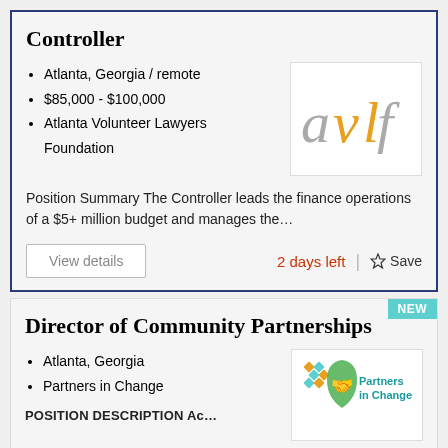Controller
Atlanta, Georgia / remote
$85,000 - $100,000
Atlanta Volunteer Lawyers Foundation
[Figure (logo): AVLF logo — stylized lowercase letters 'avlf' with 'v' and 'l' in yellow/gold and 'a' and 'f' in gray]
Position Summary  The Controller leads the finance operations of a $5+ million budget and manages the…
View details
2 days left
Save
Director of Community Partnerships
Atlanta, Georgia
Partners in Change
[Figure (logo): Partners in Change logo — green shield with hands icon and teal/orange diamond pattern, with 'Partners in Change' text in teal]
POSITION DESCRIPTION Ac…